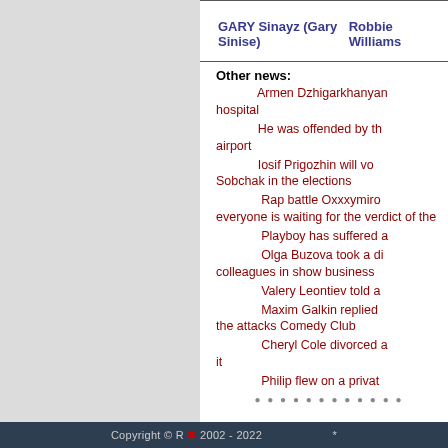| Character | Actor |
| --- | --- |
| GARY Sinayz (Gary Sinise) | Robbie Williams |
Other news:
Armen Dzhigarkhanyan hospital
He was offended by the airport
Iosif Prigozhin will vote for Sobchak in the elections
Rap battle Oxxxymiro everyone is waiting for the verdict of the
Playboy has suffered a
Olga Buzova took a di colleagues in show business
Valery Leontiev told a
Maxim Galkin replied the attacks Comedy Club
Cheryl Cole divorced it
Philip flew on a privat
Copyright © R 2002 - 2022